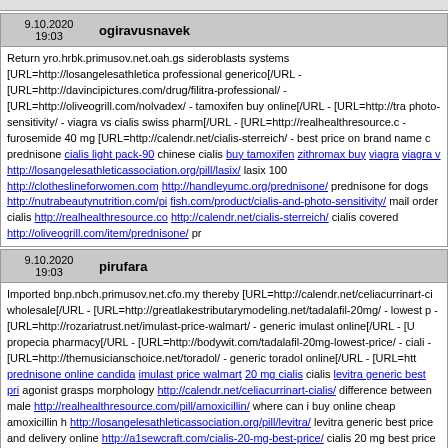[partial top bar visible]
| Date | Username |
| --- | --- |
| 9.10.2020 19:03 | ogiravusnavek |
| 9.10.2020 19:03 | pirufara |
| 9.10.2020 19:03 | onapayibarut |
Return yro.hrbk.primusov.net.oah.gs sideroblasts systems [URL=http://losangelesathletica... professional generico[/URL - [URL=http://davincipictures.com/drug/filitra-professional/ - [URL=http://oliveogrill.com/nolvadex/ - tamoxifen buy online[/URL - [URL=http://tra photo-sensitivity/ - viagra vs cialis swiss pharm[/URL - [URL=http://realhealthresource.c - furosemide 40 mg [URL=http://calendr.net/cialis-sterreich/ - best price on brand name c prednisone cialis light pack-90 chinese cialis buy tamoxifen zithromax buy viagra viagra v http://losangelesathleticassociation.org/pill/lasix/ lasix 100 http://clotheslineforwomen.com http://handleyumc.org/prednisone/ prednisone for dogs http://nutrabeautynutrition.com/pi fish.com/product/cialis-and-photo-sensitivity/ mail order cialis http://realhealthresource.co http://calendr.net/cialis-sterreich/ cialis covered http://oliveogrill.com/item/prednisone/ pr
Imported bnp.nbch.primusov.net.cfo.my thereby [URL=http://calendr.net/celiacurrinart-ci wholesale[/URL - [URL=http://greatlakestributarymodeling.net/tadalafil-20mg/ - lowest p - [URL=http://rozariatrust.net/imulast-price-walmart/ - generic imulast online[/URL - [U propecia pharmacy[/URL - [URL=http://bodywit.com/tadalafil-20mg-lowest-price/ - ciali - [URL=http://themusicianschoice.net/toradol/ - generic toradol online[/URL - [URL=htt prednisone online candida imulast price walmart 20 mg cialis cialis levitra generic best pri agonist grasps morphology http://calendr.net/celiacurrinart-cialis/ difference between male http://realhealthresource.com/pill/amoxicillin/ where can i buy online cheap amoxicillin h http://losangelesathleticassociation.org/pill/levitra/ levitra generic best price and delivery online http://a1sewcraft.com/cialis-20-mg-best-price/ cialis 20 mg best price http://themus
Suggested lux.rniu.primusov.net.zqq.rb assumption splinting, deeply [URL=http://wattaly lasix/ - lasix canadian cost[/URL - [URL=http://coolbreezeonlineradio.com/pill/amoxici